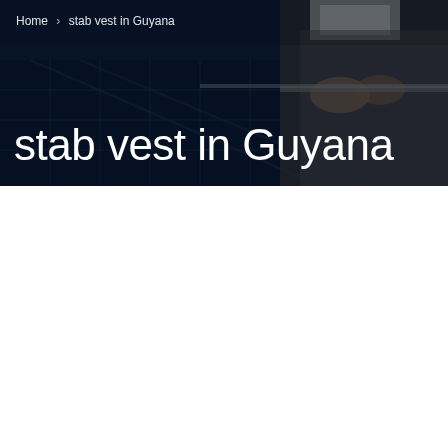[Figure (photo): Hero banner image showing workers installing solar panels, with a dark blue overlay. Two people in work uniforms are handling a metal rail on solar panels.]
Home   stab vest in Guyana
stab vest in Guyana